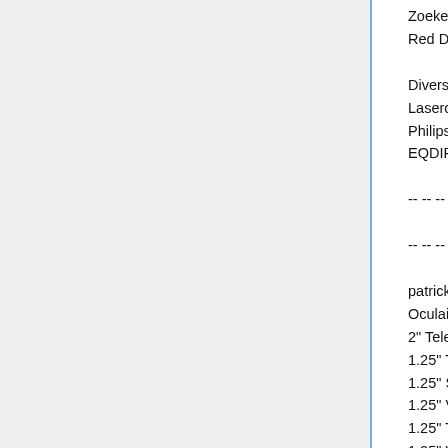Zoekers:
Red Dot Finder.
Diversen:
Lasercollimator TS
Philips Vestra Pro
EQDIR module.
-- -- -- -- -- -- -- -- -- -- -- -- -- -- -- -- -- -- -- --
-- -- -- --
patrickduis:
Oculairen en barlows:
2" Televue 35mm Panoptic
1.25" Televue 32mm plossl
1.25" Skywatcher 25mm super plossl
1.25" Vixen 12.5mm Ortho
1.25" Televue Nagler 7T1
1.25" Vixen 5mm Ortho
1.25" University optics 5mm ortho
1.25" Televue Nagler 4.8T1
1.25" Skywatcher 2x barlow
0.96" Towa 20mm Huygens